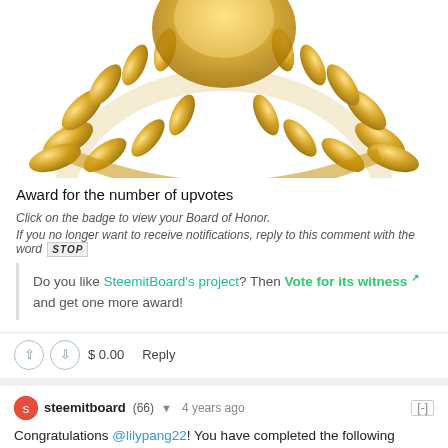[Figure (illustration): Golden laurel wreath award image, partially cropped, showing bottom arc of the wreath with golden leaves on white background]
Award for the number of upvotes
Click on the badge to view your Board of Honor.
If you no longer want to receive notifications, reply to this comment with the word STOP
Do you like SteemitBoard's project? Then Vote for its witness and get one more award!
$ 0.00    Reply
steemitboard (66) ▼   4 years ago   [-]
Congratulations @lilypang22! You have completed the following achievement on Steemit and have been rewarded with new badge(s) :
[Figure (illustration): Two partially visible golden badge circles at the bottom of the page]